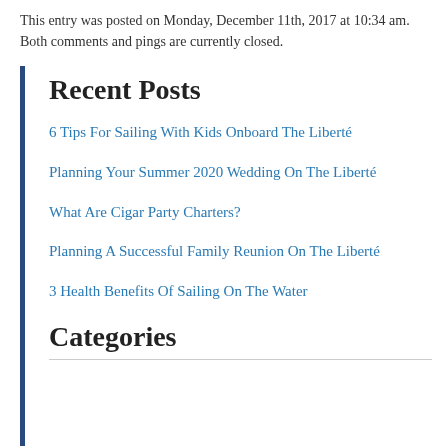This entry was posted on Monday, December 11th, 2017 at 10:34 am. Both comments and pings are currently closed.
Recent Posts
6 Tips For Sailing With Kids Onboard The Liberté
Planning Your Summer 2020 Wedding On The Liberté
What Are Cigar Party Charters?
Planning A Successful Family Reunion On The Liberté
3 Health Benefits Of Sailing On The Water
Categories